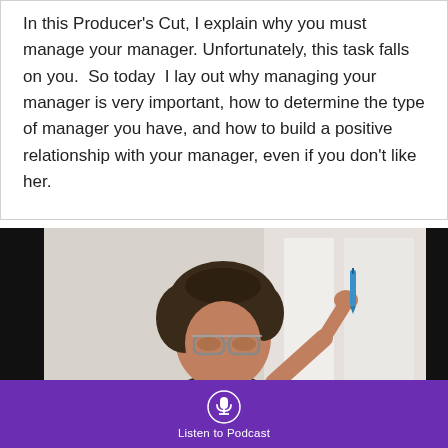In this Producer's Cut, I explain why you must manage your manager. Unfortunately, this task falls on you. So today I lay out why managing your manager is very important, how to determine the type of manager you have, and how to build a positive relationship with your manager, even if you don't like her.
[Figure (photo): A young Black woman with curly hair wearing aviator glasses, holding a blue pen thoughtfully near her face, photographed against a blurred light background with a window. Dark black panels on left and right sides of the image.]
Listen to Podcast